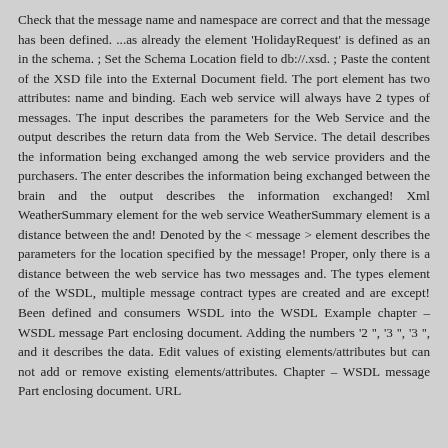Check that the message name and namespace are correct and that the message has been defined. ...as already the element 'HolidayRequest' is defined as an in the schema. ; Set the Schema Location field to db://.xsd. ; Paste the content of the XSD file into the External Document field. The port element has two attributes: name and binding. Each web service will always have 2 types of messages. The input describes the parameters for the Web Service and the output describes the return data from the Web Service. The detail describes the information being exchanged among the web service providers and the purchasers. The enter describes the information being exchanged between the brain and the output describes the information exchanged! Xml WeatherSummary element for the web service WeatherSummary element is a distance between the and! Denoted by the < message > element describes the parameters for the location specified by the message! Proper, only there is a distance between the web service has two messages and. The types element of the WSDL, multiple message contract types are created and are except! Been defined and consumers WSDL into the WSDL Example chapter – WSDL message Part enclosing document. Adding the numbers '2 '', '3 '', '3 '', and it describes the data. Edit values of existing elements/attributes but can not add or remove existing elements/attributes. Chapter – WSDL message Part enclosing document. URL